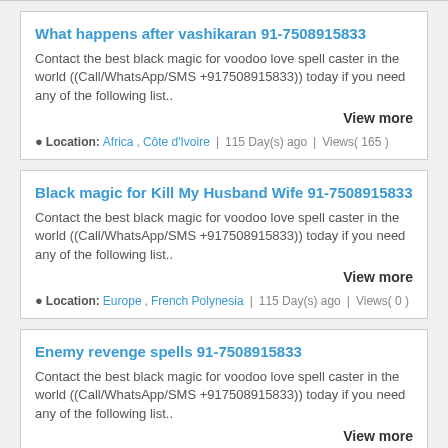What happens after vashikaran 91-7508915833
Contact the best black magic for voodoo love spell caster in the world ((Call/WhatsApp/SMS +917508915833)) today if you need any of the following list..
View more
Location: Africa , Côte d'Ivoire | 115 Day(s) ago | Views( 165 )
Black magic for Kill My Husband Wife 91-7508915833
Contact the best black magic for voodoo love spell caster in the world ((Call/WhatsApp/SMS +917508915833)) today if you need any of the following list..
View more
Location: Europe , French Polynesia | 115 Day(s) ago | Views( 0 )
Enemy revenge spells 91-7508915833
Contact the best black magic for voodoo love spell caster in the world ((Call/WhatsApp/SMS +917508915833)) today if you need any of the following list..
View more
Location: Africa , ...